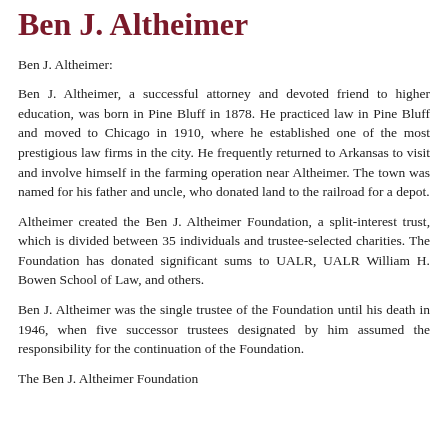Ben J. Altheimer
Ben J. Altheimer:
Ben J. Altheimer, a successful attorney and devoted friend to higher education, was born in Pine Bluff in 1878. He practiced law in Pine Bluff and moved to Chicago in 1910, where he established one of the most prestigious law firms in the city. He frequently returned to Arkansas to visit and involve himself in the farming operation near Altheimer. The town was named for his father and uncle, who donated land to the railroad for a depot.
Altheimer created the Ben J. Altheimer Foundation, a split-interest trust, which is divided between 35 individuals and trustee-selected charities. The Foundation has donated significant sums to UALR, UALR William H. Bowen School of Law, and others.
Ben J. Altheimer was the single trustee of the Foundation until his death in 1946, when five successor trustees designated by him assumed the responsibility for the continuation of the Foundation.
The Ben J. Altheimer Foundation